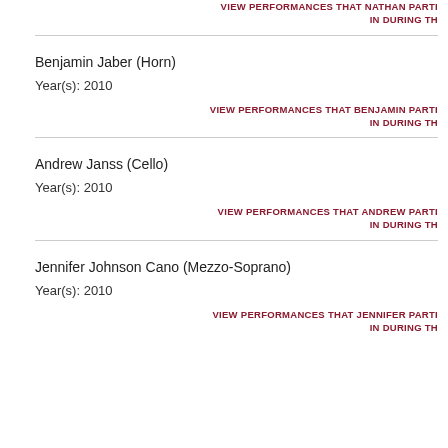VIEW PERFORMANCES THAT NATHAN PARTI IN DURING TH
Benjamin Jaber (Horn)
Year(s): 2010
VIEW PERFORMANCES THAT BENJAMIN PARTI IN DURING TH
Andrew Janss (Cello)
Year(s): 2010
VIEW PERFORMANCES THAT ANDREW PARTI IN DURING TH
Jennifer Johnson Cano (Mezzo-Soprano)
Year(s): 2010
VIEW PERFORMANCES THAT JENNIFER PARTI IN DURING TH